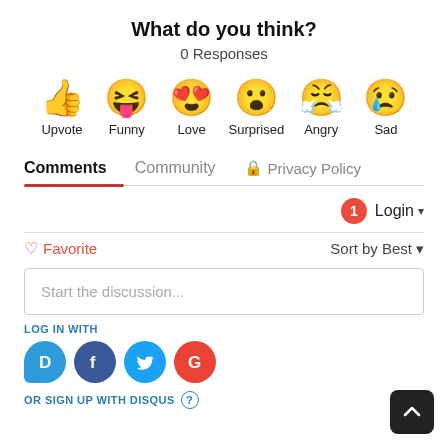What do you think?
0 Responses
[Figure (infographic): Six emoji reaction buttons: Upvote (thumbs up), Funny (laughing face with tongue), Love (heart eyes), Surprised (open mouth), Angry (steaming angry face), Sad (crying face with tear)]
Comments  Community  🔒 Privacy Policy
🔔1  Login ▾
♡ Favorite    Sort by Best ▾
Start the discussion...
LOG IN WITH
[Figure (logo): Social login icons: Disqus (D), Facebook (f), Twitter bird, Google (G)]
OR SIGN UP WITH DISQUS ?